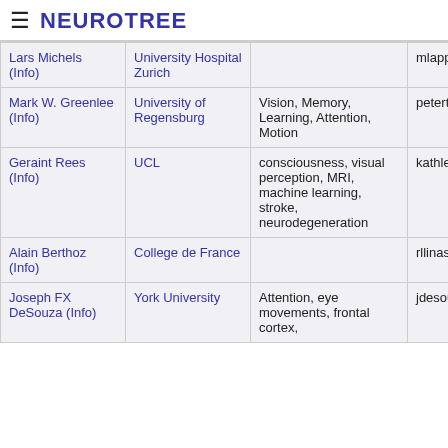≡ NEUROTREE
| Name | Institution | Area | Username |
| --- | --- | --- | --- |
| Lars Michels (Info) | University Hospital Zurich |  | mlappe |
| Mark W. Greenlee (Info) | University of Regensburg | Vision, Memory, Learning, Attention, Motion | petertse |
| Geraint Rees (Info) | UCL | consciousness, visual perception, MRI, machine learning, stroke, neurodegeneration | kathleen |
| Alain Berthoz (Info) | College de France |  | rllinas |
| Joseph FX DeSouza (Info) | York University | Attention, eye movements, frontal cortex, | jdesouza |